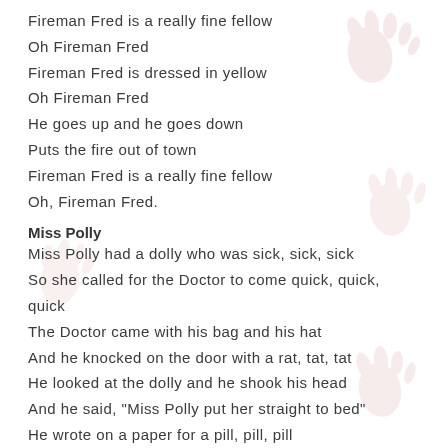Fireman Fred is a really fine fellow
Oh Fireman Fred
Fireman Fred is dressed in yellow
Oh Fireman Fred
He goes up and he goes down
Puts the fire out of town
Fireman Fred is a really fine fellow
Oh, Fireman Fred.
Miss Polly
Miss Polly had a dolly who was sick, sick, sick
So she called for the Doctor to come quick, quick, quick
The Doctor came with his bag and his hat
And he knocked on the door with a rat, tat, tat
He looked at the dolly and he shook his head
And he said, "Miss Polly put her straight to bed"
He wrote on a paper for a pill, pill, pill
I'll be back in the morning with my bill, bill, bill.